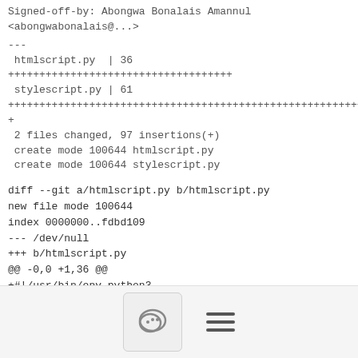Signed-off-by: Abongwa Bonalais Amannul
<abongwabonalais@...>
---
 htmlscript.py  | 36 ++++++++++++++++++++++++++++++++++
 stylescript.py | 61
++++++++++++++++++++++++++++++++++++++++++++++++++++++++++++++
+
 2 files changed, 97 insertions(+)
 create mode 100644 htmlscript.py
 create mode 100644 stylescript.py
diff --git a/htmlscript.py b/htmlscript.py
new file mode 100644
index 0000000..fdbd109
--- /dev/null
+++ b/htmlscript.py
@@ -0,0 +1,36 @@
+#!/usr/bin/env python3
+#